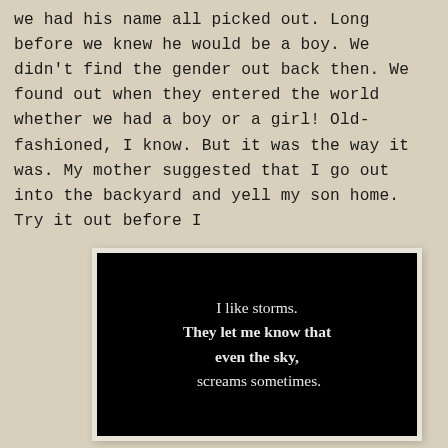we had his name all picked out. Long before we knew he would be a boy. We didn't find the gender out back then. We found out when they entered the world whether we had a boy or a girl! Old-fashioned, I know. But it was the way it was. My mother suggested that I go out into the backyard and yell my son home. Try it out before I
[Figure (illustration): Black background image with white serif text reading: 'I like storms. They let me know that even the sky, screams sometimes.']